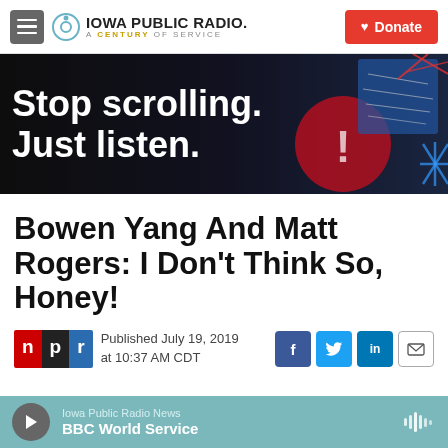Iowa Public Radio. A Century of Service. Donate.
[Figure (illustration): Iowa Public Radio promotional banner: Stop scrolling. Just listen. Dark background with decorative imagery of hands and abstract elements on the right.]
Bowen Yang And Matt Rogers: I Don't Think So, Honey!
Published July 19, 2019 at 10:37 AM CDT
Iowa Public Radio News — BBC World Service